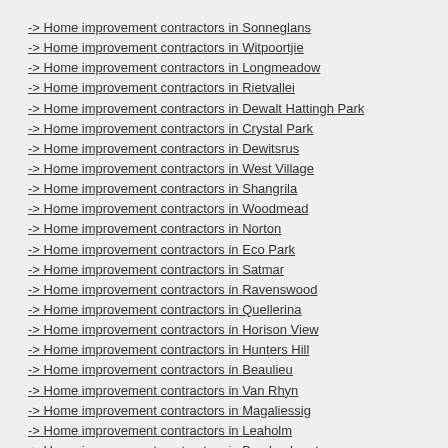-> Home improvement contractors in Sonneglans
-> Home improvement contractors in Witpoortjie
-> Home improvement contractors in Longmeadow
-> Home improvement contractors in Rietvallei
-> Home improvement contractors in Dewalt Hattingh Park
-> Home improvement contractors in Crystal Park
-> Home improvement contractors in Dewitsrus
-> Home improvement contractors in West Village
-> Home improvement contractors in Shangrila
-> Home improvement contractors in Woodmead
-> Home improvement contractors in Norton
-> Home improvement contractors in Eco Park
-> Home improvement contractors in Satmar
-> Home improvement contractors in Ravenswood
-> Home improvement contractors in Quellerina
-> Home improvement contractors in Horison View
-> Home improvement contractors in Hunters Hill
-> Home improvement contractors in Beaulieu
-> Home improvement contractors in Van Rhyn
-> Home improvement contractors in Magaliessig
-> Home improvement contractors in Leaholm
-> Home improvement contractors in Brackenhurst
-> Home improvement contractors in Carlswald Estate
-> Home improvement contractors in Fairways